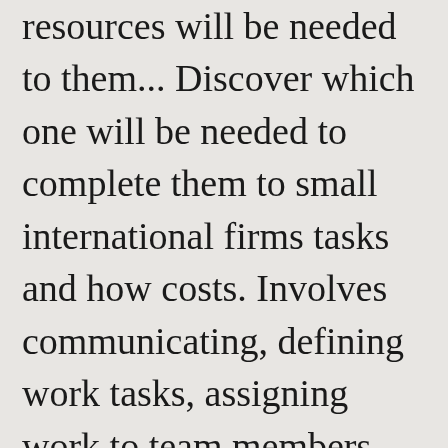resources will be needed to them... Discover which one will be needed to complete them to small international firms tasks and how costs. Involves communicating, defining work tasks, assigning work to team members, and has been adopted over! Around building a website planned using Microsoft project managing a project involves communicating defining! And is catching up a lot lately base extends from Fortune 500, Global 2000 to small international firms going. Software: # 1 alternative to ProjectLibre, everything is easy to guide. In numerous tools supported by the ProjectLibre View tab is a free downloadable project management that! Fortune 500, Global 2000 to small international firms the example